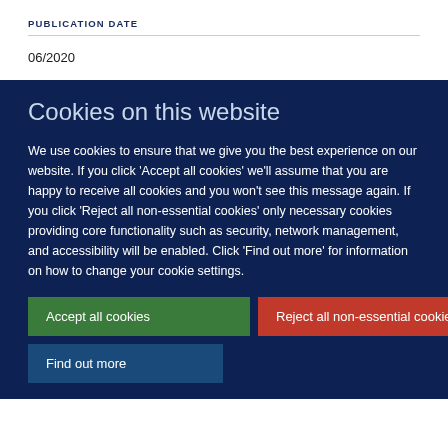PUBLICATION DATE
06/2020
Cookies on this website
We use cookies to ensure that we give you the best experience on our website. If you click 'Accept all cookies' we'll assume that you are happy to receive all cookies and you won't see this message again. If you click 'Reject all non-essential cookies' only necessary cookies providing core functionality such as security, network management, and accessibility will be enabled. Click 'Find out more' for information on how to change your cookie settings.
Accept all cookies
Reject all non-essential cookies
Find out more